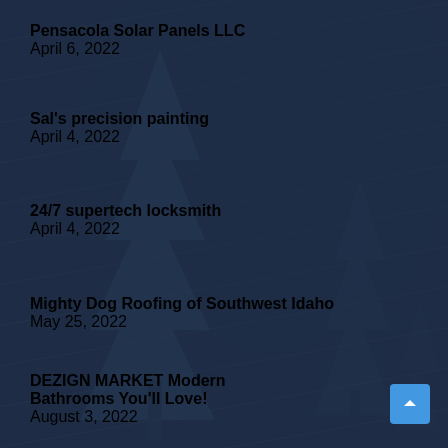Pensacola Solar Panels LLC
April 6, 2022
Sal's precision painting
April 4, 2022
24/7 supertech locksmith
April 4, 2022
Mighty Dog Roofing of Southwest Idaho
May 25, 2022
DEZIGN MARKET Modern Bathrooms You'll Love!
August 3, 2022